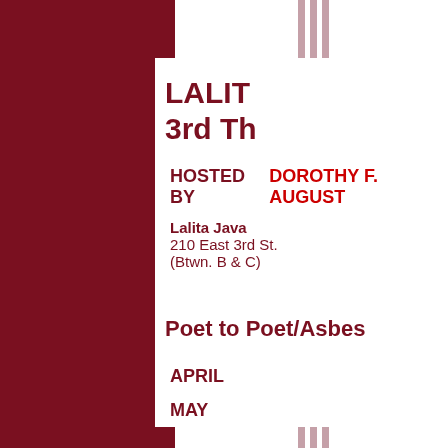LALIT 3rd Th
HOSTED BY DOROTHY F. AUGUST
Lalita Java
210 East 3rd St.
(Btwn. B & C)
Poet to Poet/Asbes
APRIL
MAY
Asbestos Arts Group Open Mic featuring
Sunday, May 6th, 2007 3 pm.
Back Fence Bar
155 Bleecker St. Manhattan, (btwn Broadway & 6th